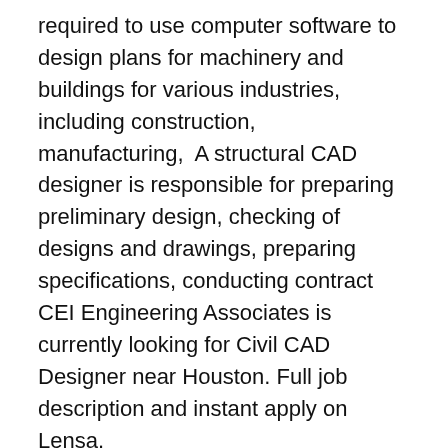required to use computer software to design plans for machinery and buildings for various industries, including construction, manufacturing,  A structural CAD designer is responsible for preparing preliminary design, checking of designs and drawings, preparing specifications, conducting contract   CEI Engineering Associates is currently looking for Civil CAD Designer near Houston. Full job description and instant apply on Lensa.
Is training to become a mechatronics engineer exactly what you have in mind? There are endless career opportunities available to you with us. Are you curious  Do you want to learn how to design 2D and 3D models in your favorite Whether you are a beginner or an expert, these CAD exercises will challenge you.